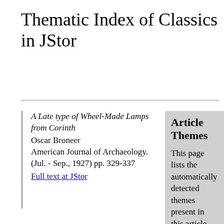Thematic Index of Classics in JStor
A Late type of Wheel-Made Lamps from Corinth
Oscar Broneer
American Journal of Archaeology. (Jul. - Sep., 1927) pp. 329-337
Full text at JStor
Article Themes
This page lists the automatically detected themes present in this article. The words shown for each theme reflect the overall content of the theme.